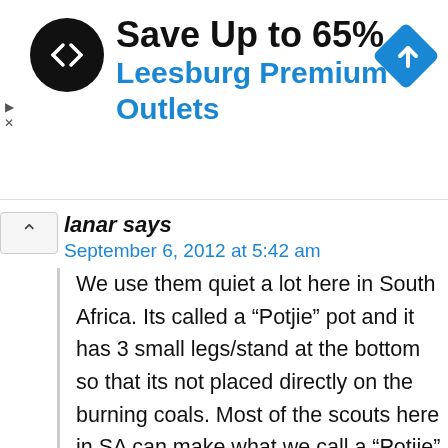[Figure (infographic): Advertisement banner: black circular logo with arrow icon, text 'Save Up to 65%' in black bold and 'Leesburg Premium Outlets' in blue bold, blue diamond navigation icon on right. Navigation arrows (play/close) on left edge.]
lanar says
September 6, 2012 at 5:42 am
We use them quiet a lot here in South Africa. Its called a “Potjie” pot and it has 3 small legs/stand at the bottom so that its not placed directly on the burning coals. Most of the scouts here in SA can make what we call a “Potjie” that can feed their troop. Its a one pot meal with meat, vegetables and some add dumplings on top, then there is a sepearte potjie that they cook either rice or traditional mielie (corn) pap (porridge). I would go one step further when storing the dutch oven/potjie, after coating it with oil, we place scrunched up newspaper inside to capture any